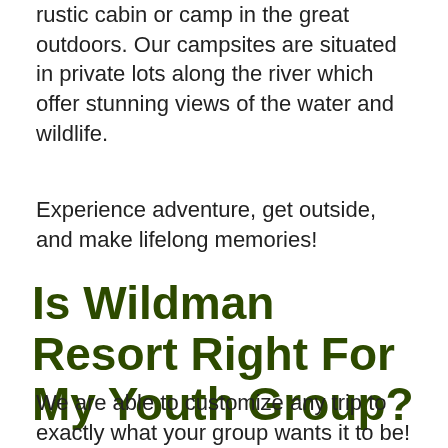rustic cabin or camp in the great outdoors. Our campsites are situated in private lots along the river which offer stunning views of the water and wildlife.
Experience adventure, get outside, and make lifelong memories!
Is Wildman Resort Right For My Youth Group?
We are able to customize any trip to exactly what your group wants it to be! Choose your activities and if you are wanting to stay with us and we will put together a